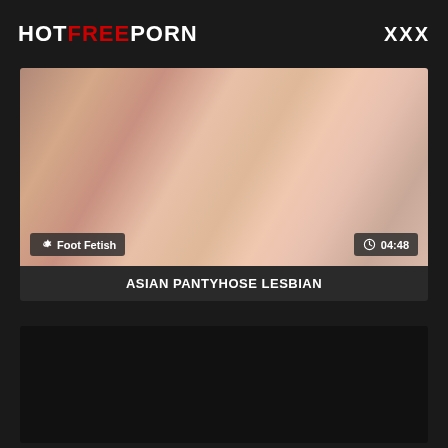HOTFREEPORN  XXX
[Figure (photo): Video thumbnail showing close-up adult content. Overlays: left badge 'Foot Fetish' with gear icon, right badge '04:48' with clock icon.]
ASIAN PANTYHOSE LESBIAN
[Figure (photo): Black video thumbnail placeholder]